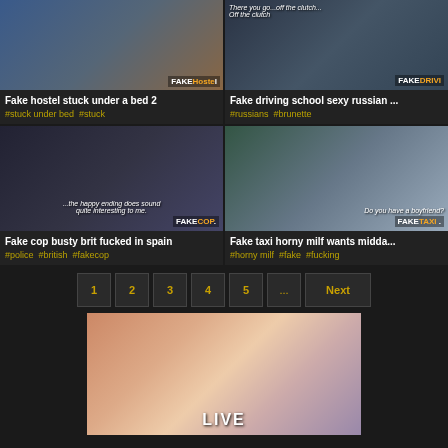[Figure (screenshot): Fake Hostel thumbnail - stuck under a bed scene]
Fake hostel stuck under a bed 2
#stuck under bed  #stuck
[Figure (screenshot): Fake Driving School sexy russian thumbnail]
Fake driving school sexy russian ...
#russians  #brunette
[Figure (screenshot): Fake Cop busty brit fucked in spain thumbnail]
Fake cop busty brit fucked in spain
#police  #british  #fakecop
[Figure (screenshot): Fake Taxi horny milf wants midda... thumbnail]
Fake taxi horny milf wants midda...
#horny milf  #fake  #fucking
1
2
3
4
5
...
Next
[Figure (photo): Live cam banner image at the bottom]